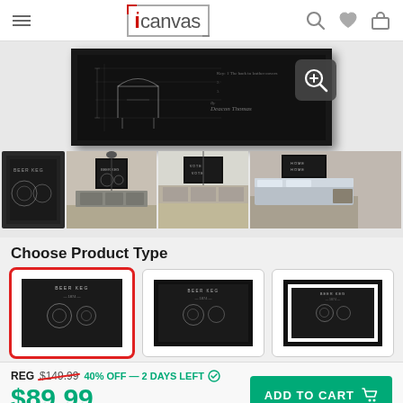iCanvas
[Figure (photo): Main product canvas print showing a chalkboard-style beer keg patent drawing]
[Figure (photo): Thumbnail row showing 4 product variants and room settings for beer keg canvas print]
Choose Product Type
[Figure (photo): Three product type options: canvas wrap (selected with red border), black frame, white/black frame]
REG $149.99  40% OFF — 2 DAYS LEFT
$89.99
FREE SHIPPING
ADD TO CART